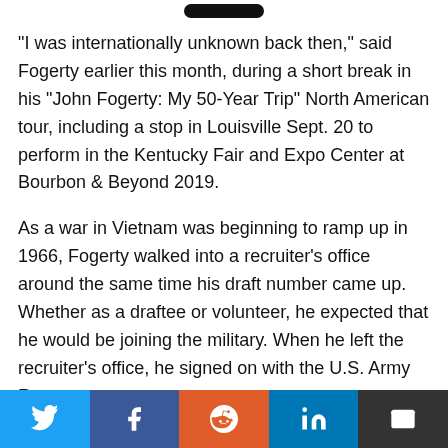[Figure (other): Black rounded pill/capsule shape at top of page, partially visible]
"I was internationally unknown back then," said Fogerty earlier this month, during a short break in his "John Fogerty: My 50-Year Trip" North American tour, including a stop in Louisville Sept. 20 to perform in the Kentucky Fair and Expo Center at Bourbon & Beyond 2019.
As a war in Vietnam was beginning to ramp up in 1966, Fogerty walked into a recruiter's office around the same time his draft number came up. Whether as a draftee or volunteer, he expected that he would be joining the military. When he left the recruiter's office, he signed on with the U.S. Army Reserve as a
[Figure (infographic): Social media share bar with Twitter, Facebook, Reddit, LinkedIn, and Email buttons]